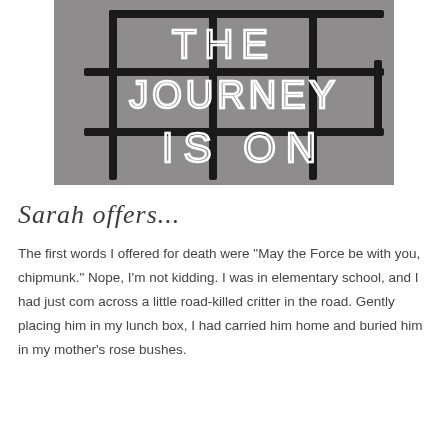[Figure (photo): A neon sign artwork on a gray wall displaying the words 'THE JOURNEY IS ON' in white neon script letters mounted on a black metal grid frame structure.]
Sarah offers...
The first words I offered for death were "May the Force be with you, chipmunk." Nope, I'm not kidding. I was in elementary school, and I had just com across a little road-killed critter in the road. Gently placing him in my lunch box, I had carried him home and buried him in my mother's rose bushes.